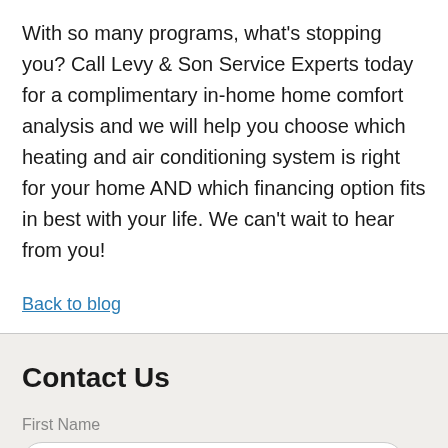With so many programs, what's stopping you? Call Levy & Son Service Experts today for a complimentary in-home home comfort analysis and we will help you choose which heating and air conditioning system is right for your home AND which financing option fits in best with your life. We can't wait to hear from you!
Back to blog
Contact Us
First Name